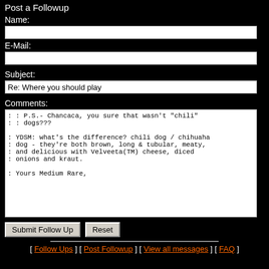Post a Followup
Name:
E-Mail:
Subject:
Re: Where you should play
Comments:
: : P.S.- Chancaca, you sure that wasn't "chili"
: : dogs???

: YDSM: what's the difference? chili dog / chihuaha
: dog - they're both brown, long & tubular, meaty,
: and delicious with Velveeta(TM) cheese, diced
: onions and kraut.

: Yours Medium Rare,
Submit Follow Up   Reset
[ Follow Ups ] [ Post Followup ] [ View all messages ] [ FAQ ]